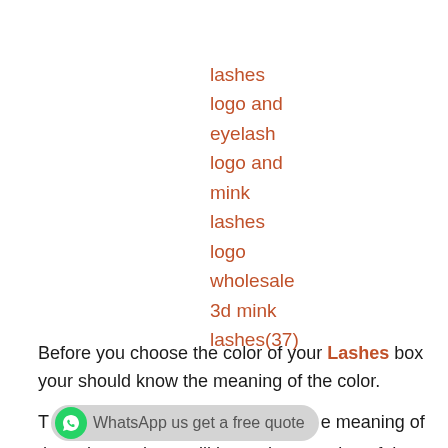lashes
logo and
eyelash
logo and
mink
lashes
logo
wholesale
3d mink
lashes(37)
Before you choose the color of your Lashes box your should know the meaning of the color.
The meaning of the color ,and you will know the meaning of the color, and when you build your Mink Eyelash brand, you will